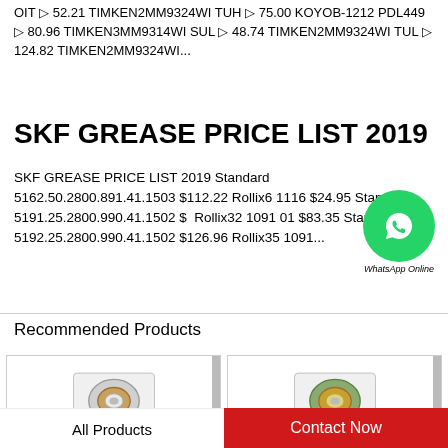OIT 52.21 TIMKEN2MM9324WI TUH 75.00 KOYOB-1212 PDL449 80.96 TIMKEN3MM9314WI SUL 48.74 TIMKEN2MM9324WI TUL 124.82 TIMKEN2MM9324WI...
SKF GREASE PRICE LIST 2019
SKF GREASE PRICE LIST 2019 Standard 5162.50.2800.891.41.1503 $112.22 Rollix6 1116 $24.95 Standard 5191.25.2800.990.41.1502 $ Rollix32 1091 01 $83.35 Standard 5192.25.2800.990.41.1502 $126.96 Rollix35 1091...
[Figure (other): WhatsApp Online contact bubble (green circle with phone icon)]
Recommended Products
[Figure (photo): Bearing product photo - left card]
[Figure (photo): Bearing product photo - right card]
All Products | Contact Now